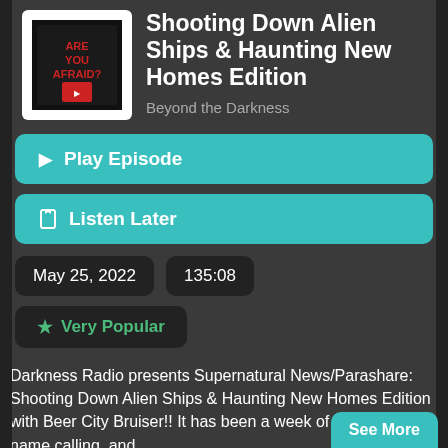[Figure (illustration): Podcast album art thumbnail - dark background with stylized figures]
Shooting Down Alien Ships & Haunting New Homes Edition
Beyond the Darkness
▶ Play Episode
🔖 Listen Later
May 25, 2022
135:08
★ Very Popular
Darkness Radio presents Supernatural News/Parashare: Shooting Down Alien Ships & Haunting New Homes Edition with Beer City Bruiser!! It has been a week of Investigation, name calling, and
See More